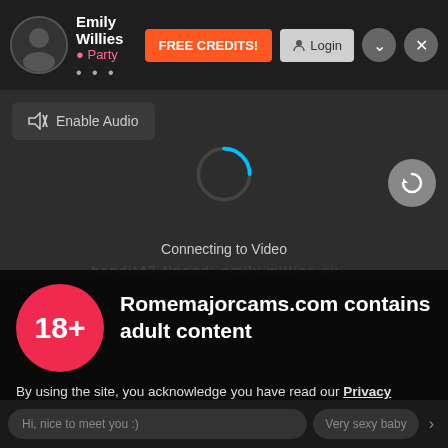Emily Willies • Party | FREE CREDITS! | Login
[Figure (screenshot): Enable Audio button with muted speaker icon in dark video area with loading spinner and 'Connecting to Video' text]
Connecting to Video
Romemajorcams.com contains adult content
By using the site, you acknowledge you have read our Privacy Policy, and agree to our Terms and Conditions.
We use cookies to optimize your experience, analyze traffic, and deliver more personalized service. To learn more, please see our Privacy Policy.
I AGREE